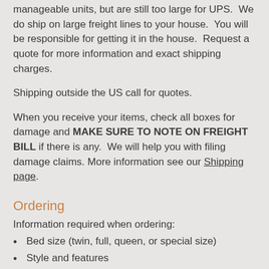manageable units, but are still too large for UPS.  We do ship on large freight lines to your house.  You will be responsible for getting it in the house.  Request a quote for more information and exact shipping charges.
Shipping outside the US call for quotes.
When you receive your items, check all boxes for damage and MAKE SURE TO NOTE ON FREIGHT BILL if there is any.  We will help you with filing damage claims. More information see our Shipping page.
Ordering
Information required when ordering:
Bed size (twin, full, queen, or special size)
Style and features
You may want to send a quote first Send a Quote